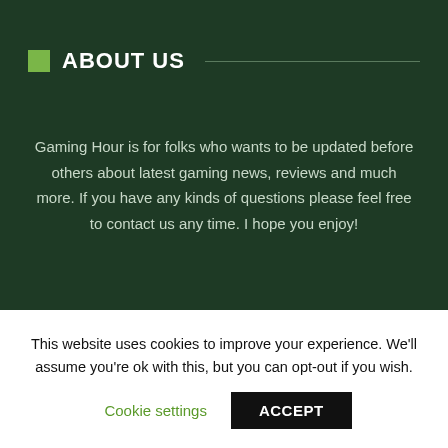ABOUT US
Gaming Hour is for folks who wants to be updated before others about latest gaming news, reviews and much more. If you have any kinds of questions please feel free to contact us any time. I hope you enjoy!
This website uses cookies to improve your experience. We'll assume you're ok with this, but you can opt-out if you wish.
Cookie settings
ACCEPT